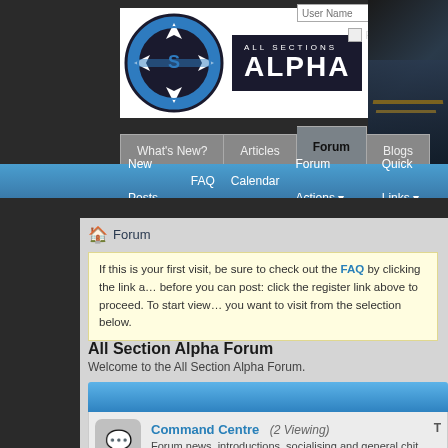[Figure (logo): All Sections Alpha logo with blue circular emblem and text]
User Name  Password  Remember Me?
What's New? | Articles | Forum | Blogs
New Posts  FAQ  Calendar  Forum Actions  Quick Links
Forum
If this is your first visit, be sure to check out the FAQ by clicking the link above. You may have to register before you can post: click the register link above to proceed. To start viewing messages, select the forum that you want to visit from the selection below.
All Section Alpha Forum
Welcome to the All Section Alpha Forum.
Command Centre   (2 Viewing)
Forum news, introductions, socialising and general chit chat